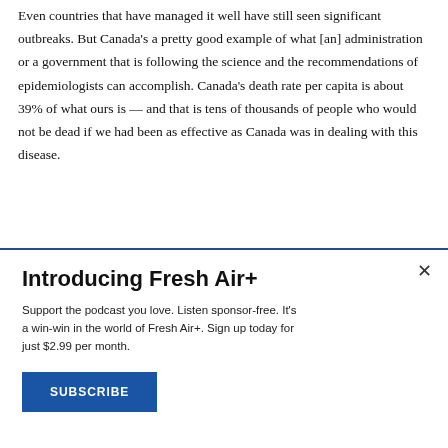Even countries that have managed it well have still seen significant outbreaks. But Canada's a pretty good example of what [an] administration or a government that is following the science and the recommendations of epidemiologists can accomplish. Canada's death rate per capita is about 39% of what ours is — and that is tens of thousands of people who would not be dead if we had been as effective as Canada was in dealing with this disease.
Introducing Fresh Air+
Support the podcast you love. Listen sponsor-free. It's a win-win in the world of Fresh Air+. Sign up today for just $2.99 per month.
SUBSCRIBE